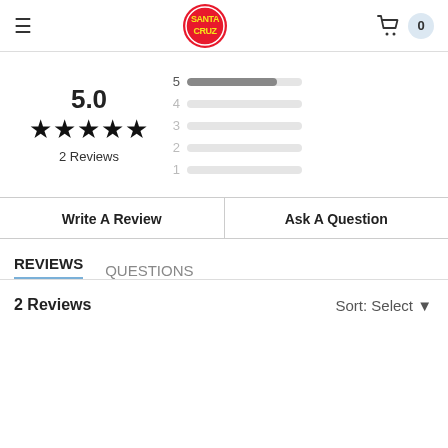Santa Cruz (logo), cart 0
[Figure (other): Rating summary showing 5.0 average with 5 gold stars and 2 Reviews, alongside a bar chart of star distribution (5 stars has filled bar, 4-1 stars have empty bars)]
Write A Review
Ask A Question
REVIEWS   QUESTIONS
2 Reviews
Sort: Select